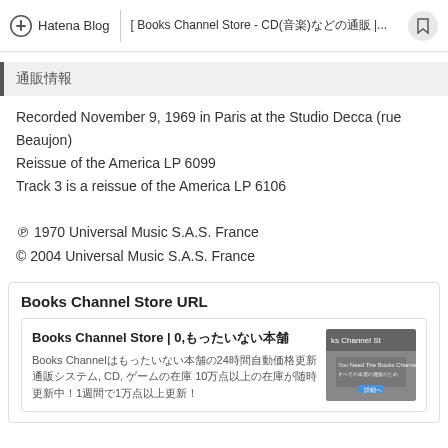Hatena Blog | [ Books Channel Store - CD(音楽)などの通販 |...
通販情報
Recorded November 9, 1969 in Paris at the Studio Decca (rue Beaujon)
Reissue of the America LP 6099
Track 3 is a reissue of the America LP 6106

℗ 1970 Universal Music S.A.S. France
© 2004 Universal Music S.A.S. France
Books Channel Store URL
Books Channel Store | 0,もったいない本舗
Books Channelはもったいない本舗の24時間自動価格更新通販システム, CD, ゲームの在庫10万点以上の在庫が随時更新中！1週間で1万点以上更新！